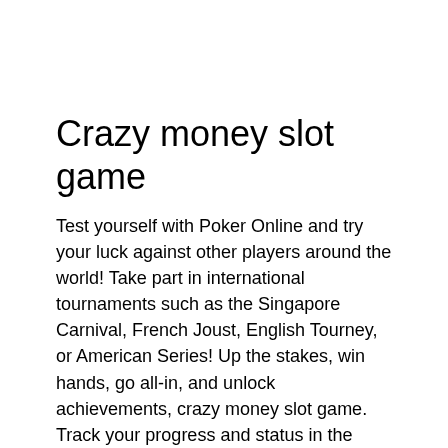Crazy money slot game
Test yourself with Poker Online and try your luck against other players around the world! Take part in international tournaments such as the Singapore Carnival, French Joust, English Tourney, or American Series! Up the stakes, win hands, go all-in, and unlock achievements, crazy money slot game. Track your progress and status in the game! See how many Tournaments you've won and Achievements you've earned. The 46-table poker room at MGM National Harbor offers 24/7 live action poker, crazy money slot game. The next 20 free spins are added in another 24 hours during 9 days. Deposits made with Neteller or Skrill do not qualify for this promotion, crazy money slot game. The